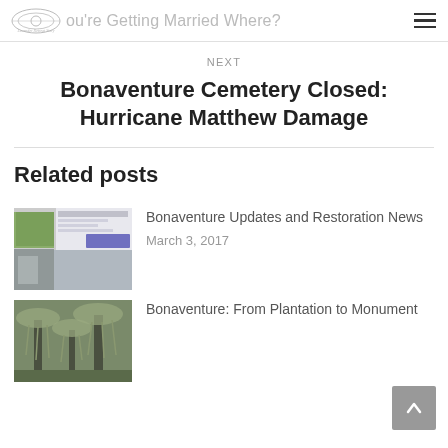You're Getting Married Where?
NEXT
Bonaventure Cemetery Closed: Hurricane Matthew Damage
Related posts
[Figure (screenshot): Thumbnail collage showing website screenshot and cemetery monument photo for Bonaventure Updates and Restoration News post]
Bonaventure Updates and Restoration News
March 3, 2017
[Figure (photo): Thumbnail photo of cemetery with trees covered in Spanish moss for Bonaventure: From Plantation to Monument post]
Bonaventure: From Plantation to Monument